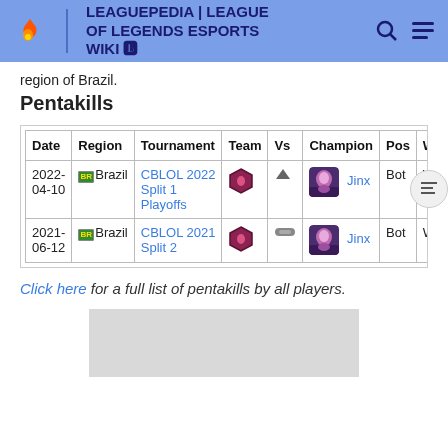LEAGUEPEDIA | LEAGUE OF LEGENDS ESPORTS WIKI
region of Brazil.
Pentakills
| Date | Region | Tournament | Team | Vs | Champion | Pos | W/L |
| --- | --- | --- | --- | --- | --- | --- | --- |
| 2022-04-10 | Brazil | CBLOL 2022 Split 1 Playoffs |  |  | Jinx | Bot | W | 1 |
| 2021-06-12 | Brazil | CBLOL 2021 Split 2 |  |  | Jinx | Bot | W | 1 |
Click here for a full list of pentakills by all players.
[Figure (other): Advertisement placeholder (gray rectangle)]